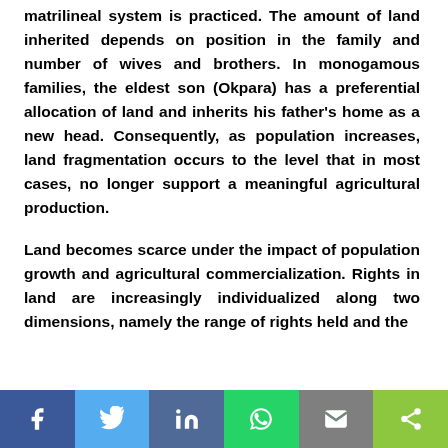matrilineal system is practiced. The amount of land inherited depends on position in the family and number of wives and brothers. In monogamous families, the eldest son (Okpara) has a preferential allocation of land and inherits his father's home as a new head. Consequently, as population increases, land fragmentation occurs to the level that in most cases, no longer support a meaningful agricultural production.

Land becomes scarce under the impact of population growth and agricultural commercialization. Rights in land are increasingly individualized along two dimensions, namely the range of rights held and the
[Figure (other): Social media share bar with buttons: Facebook (f), Twitter (bird), LinkedIn (in), WhatsApp (phone), Email (envelope), Share (<)]